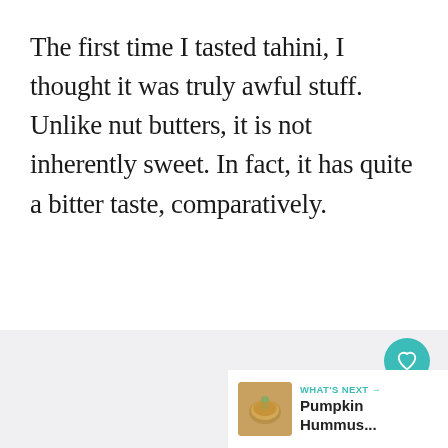The first time I tasted tahini, I thought it was truly awful stuff. Unlike nut butters, it is not inherently sweet. In fact, it has quite a bitter taste, comparatively.
[Figure (infographic): Social interaction panel: heart/like button (teal circle with heart icon), count label showing 54, and a share button (white circle with share icon). Below is a 'What's Next' card showing a pumpkin hummus thumbnail image with the label 'WHAT'S NEXT →' and title 'Pumpkin Hummus...']